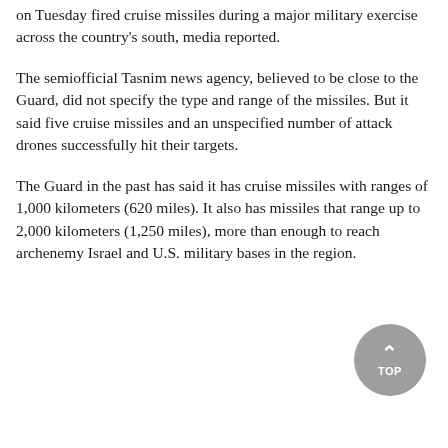on Tuesday fired cruise missiles during a major military exercise across the country's south, media reported.
The semiofficial Tasnim news agency, believed to be close to the Guard, did not specify the type and range of the missiles. But it said five cruise missiles and an unspecified number of attack drones successfully hit their targets.
The Guard in the past has said it has cruise missiles with ranges of 1,000 kilometers (620 miles). It also has missiles that range up to 2,000 kilometers (1,250 miles), more than enough to reach archenemy Israel and U.S. military bases in the region.
[Figure (other): Gray circular TOP button with upward arrow chevron]